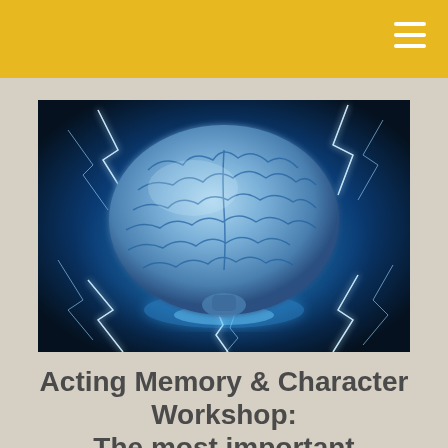[Figure (illustration): A glowing blue human brain with lightning bolts surrounding it on a dark blue background, rendered in a dramatic digital art style.]
Acting Memory & Character Workshop: The most important workshop for actors